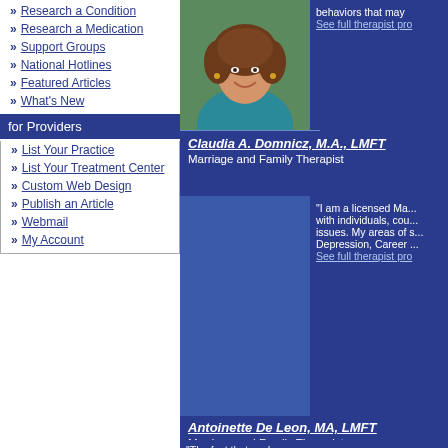Research a Condition
Research a Medication
Support Groups
National Hotlines
Featured Articles
What's New
for Providers
List Your Practice
List Your Treatment Center
Custom Web Design
Publish an Article
Webmail
My Account
[Figure (photo): Photo of female therapist with curly brown hair wearing a blue/teal sweater, smiling outdoors]
behaviors that may... See full therapist pro...
Claudia A. Domnicz, M.A., LMFT
Marriage and Family Therapist
"I am a licensed Ma... with individuals, cou... issues. My areas of s... Depression, Career ... See full therapist pro...
Antoinette De Leon, MA, LMFT
Marriage and Family Therapist
"The fact that you're...